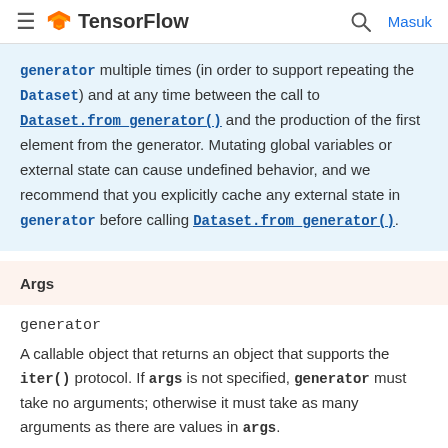TensorFlow — Masuk
generator multiple times (in order to support repeating the Dataset) and at any time between the call to Dataset.from_generator() and the production of the first element from the generator. Mutating global variables or external state can cause undefined behavior, and we recommend that you explicitly cache any external state in generator before calling Dataset.from_generator().
Args
generator
A callable object that returns an object that supports the iter() protocol. If args is not specified, generator must take no arguments; otherwise it must take as many arguments as there are values in args.